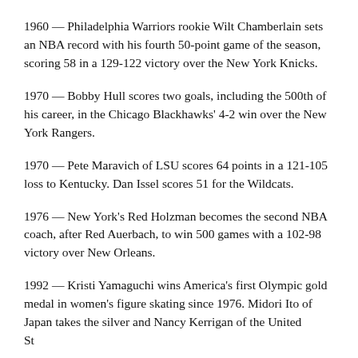1960 — Philadelphia Warriors rookie Wilt Chamberlain sets an NBA record with his fourth 50-point game of the season, scoring 58 in a 129-122 victory over the New York Knicks.
1970 — Bobby Hull scores two goals, including the 500th of his career, in the Chicago Blackhawks' 4-2 win over the New York Rangers.
1970 — Pete Maravich of LSU scores 64 points in a 121-105 loss to Kentucky. Dan Issel scores 51 for the Wildcats.
1976 — New York's Red Holzman becomes the second NBA coach, after Red Auerbach, to win 500 games with a 102-98 victory over New Orleans.
1992 — Kristi Yamaguchi wins America's first Olympic gold medal in women's figure skating since 1976. Midori Ito of Japan takes the silver and Nancy Kerrigan of the United States wins bronze.